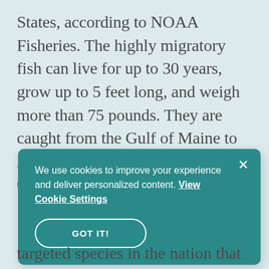States, according to NOAA Fisheries. The highly migratory fish can live for up to 30 years, grow up to 5 feet long, and weigh more than 75 pounds. They are caught from the Gulf of Maine to Albemarle Sound in North Carolina.
We use cookies to improve your experience and deliver personalized content. View Cookie Settings
GOT IT!
targeted species in the nation that